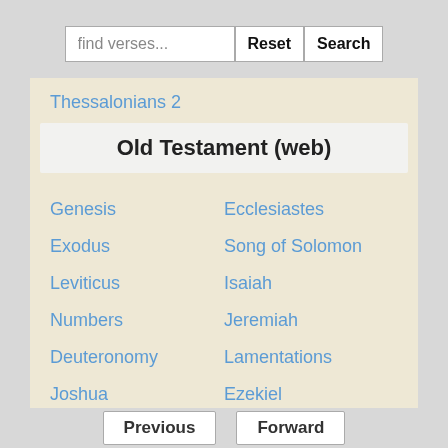find verses...
Reset
Search
Thessalonians 2
Old Testament (web)
Genesis
Exodus
Leviticus
Numbers
Deuteronomy
Joshua
Judges
Ecclesiastes
Song of Solomon
Isaiah
Jeremiah
Lamentations
Ezekiel
Daniel
Previous
Forward